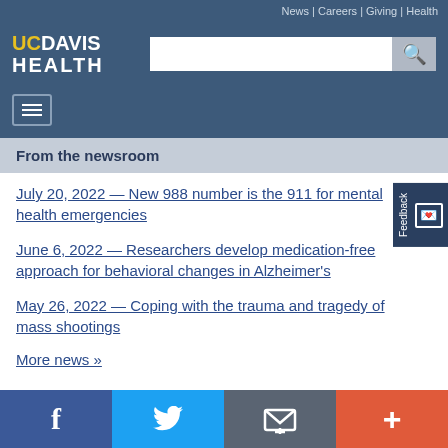News | Careers | Giving | Health
[Figure (logo): UC Davis Health logo with search bar]
From the newsroom
July 20, 2022 — New 988 number is the 911 for mental health emergencies
June 6, 2022 — Researchers develop medication-free approach for behavioral changes in Alzheimer's
May 26, 2022 — Coping with the trauma and tragedy of mass shootings
More news »
Facebook | Twitter | Email | More